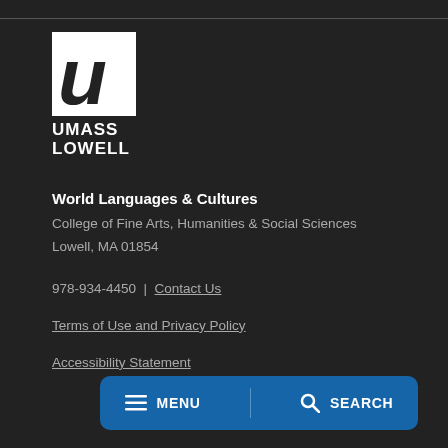[Figure (logo): UMass Lowell logo in white on dark background]
World Languages & Cultures
College of Fine Arts, Humanities & Social Sciences
Lowell, MA 01854
978-934-4450 | Contact Us
Terms of Use and Privacy Policy
Accessibility Statement
MENU   SEARCH